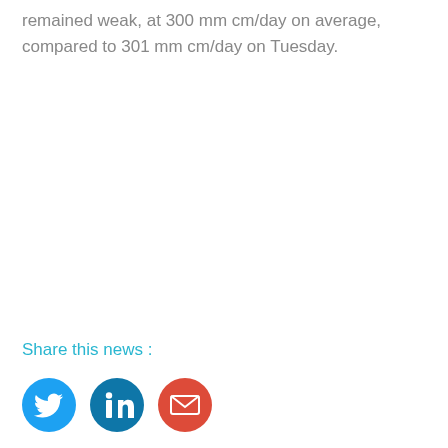remained weak, at 300 mm cm/day on average, compared to 301 mm cm/day on Tuesday.
Share this news :
[Figure (other): Three social media share buttons: Twitter (blue circle with bird icon), LinkedIn (teal circle with 'in' icon), Email (red circle with envelope icon)]